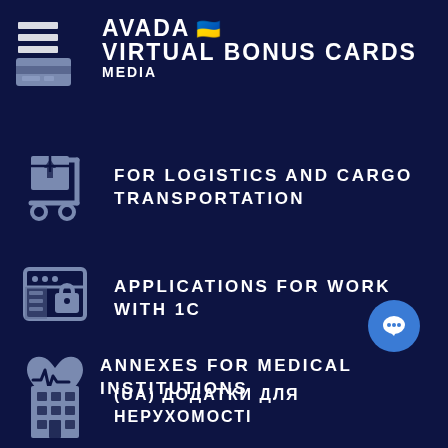AVADA MEDIA 🇺🇦 VIRTUAL BONUS CARDS
FOR LOGISTICS AND CARGO TRANSPORTATION
APPLICATIONS FOR WORK WITH 1C
ANNEXES FOR MEDICAL INSTITUTIONS
(UA) ДОДАТКИ ДЛЯ НЕРУХОМОСТІ